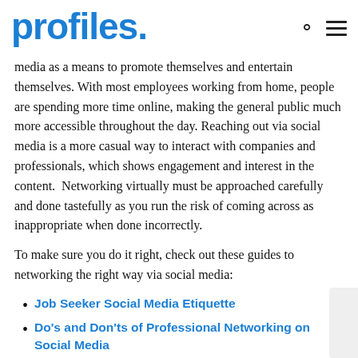profiles.
media as a means to promote themselves and entertain themselves. With most employees working from home, people are spending more time online, making the general public much more accessible throughout the day. Reaching out via social media is a more casual way to interact with companies and professionals, which shows engagement and interest in the content.  Networking virtually must be approached carefully and done tastefully as you run the risk of coming across as inappropriate when done incorrectly.
To make sure you do it right, check out these guides to networking the right way via social media:
Job Seeker Social Media Etiquette
Do's and Don'ts of Professional Networking on Social Media